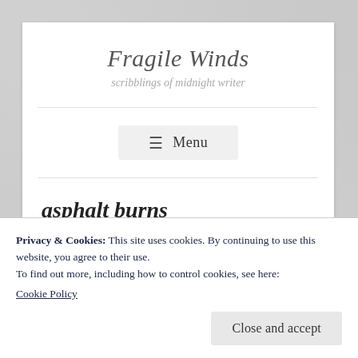Fragile Winds
scribblings of midnight writer
≡ Menu
asphalt burns
OCTOBER 14, 2007
Privacy & Cookies: This site uses cookies. By continuing to use this website, you agree to their use.
To find out more, including how to control cookies, see here:
Cookie Policy
Close and accept